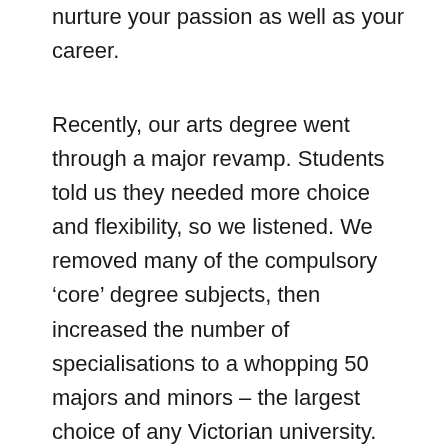nurture your passion as well as your career.
Recently, our arts degree went through a major revamp. Students told us they needed more choice and flexibility, so we listened. We removed many of the compulsory ‘core’ degree subjects, then increased the number of specialisations to a whopping 50 majors and minors – the largest choice of any Victorian university.